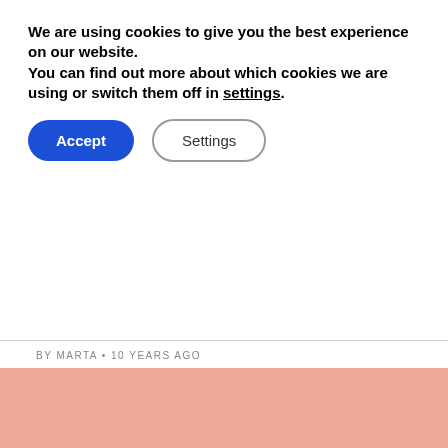We are using cookies to give you the best experience on our website.
You can find out more about which cookies we are using or switch them off in settings.
Accept | Settings
BY MARTA • 10 YEARS AGO
I have been watching these pears the last couple of days.
They were a bit old and when I tried one it was tasteless.
All the freshness had left the ...
READ MORE